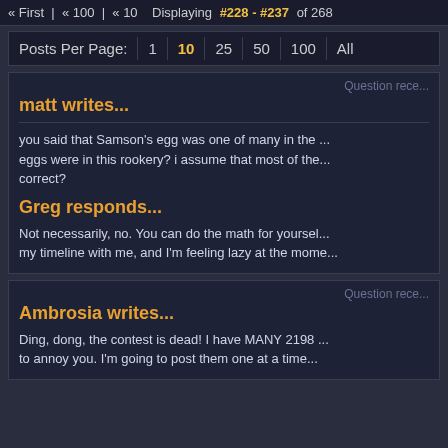« First  « 100  « 10  Displaying #228 - #237 of 268
Posts Per Page: 1  10  25  50  100  All
Question rece...
matt writes...
you said that Samson's egg was one of many in the ... eggs were in this rookery? i assume that most of the... correct?
Greg responds...
Not necessarily, no. You can do the math for yourself... my timeline with me, and I'm feeling lazy at the mome...
Question rece...
Ambrosia writes...
Ding, dong, the contest is dead! I have MANY 2198 ... to annoy you. I'm going to post them one at a time...